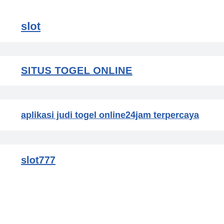slot
SITUS TOGEL ONLINE
aplikasi judi togel online24jam terpercaya
slot777